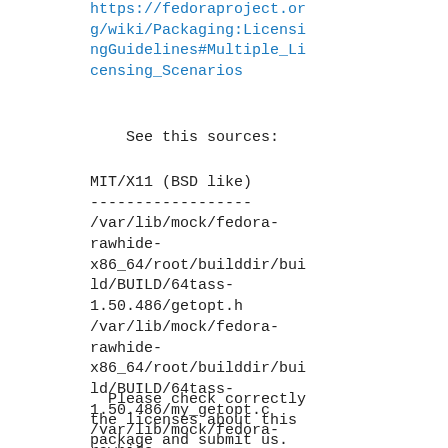https://fedoraproject.org/wiki/Packaging:LicensingGuidelines#Multiple_Licensing_Scenarios
See this sources:
MIT/X11 (BSD like)
------------------
/var/lib/mock/fedora-rawhide-x86_64/root/builddir/build/BUILD/64tass-1.50.486/getopt.h
/var/lib/mock/fedora-rawhide-x86_64/root/builddir/build/BUILD/64tass-1.50.486/my_getopt.c
/var/lib/mock/fedora-rawhide-x86_64/root/builddir/build/BUILD/64tass-1.50.486/my_getopt.h
Please check correctly the licenses about this package and submit us.
Thank you.